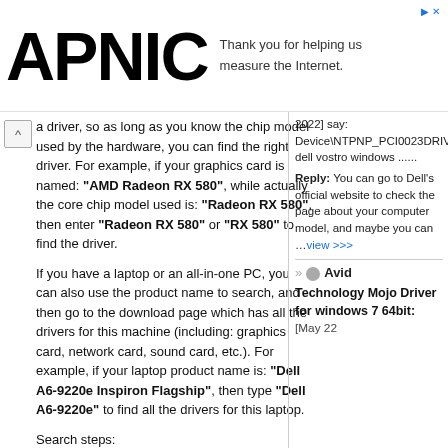APNIC — Thank you for helping us measure the Internet.
a driver, so as long as you know the chip model used by the hardware, you can find the right driver. For example, if your graphics card is named: "AMD Radeon RX 580", while actually the core chip model used is: "Radeon RX 580", then enter "Radeon RX 580" or "RX 580" to find the driver.
If you have a laptop or an all-in-one PC, you can also use the product name to search, and then go to the download page which has all the drivers for this machine (including: graphics card, network card, sound card, etc.). For example, if your laptop product name is: "Dell A6-9220e Inspiron Flagship", then type "Dell A6-9220e" to find all the drivers for this laptop.
Search steps:
1. Enter a keyword in the input box and click
2022] say: Device\NTPNP_PCI0023DRIVERDevice\NTPNP_PCI0024DRIVERDevice\NTPNP_PCI025DRIVERMy dell vostro windows ......
Reply: You can go to Dell's official website to check the page about your computer model, and maybe you can … view >>>
» Avid Technology Mojo Driver for windows 7 64bit: [May 22